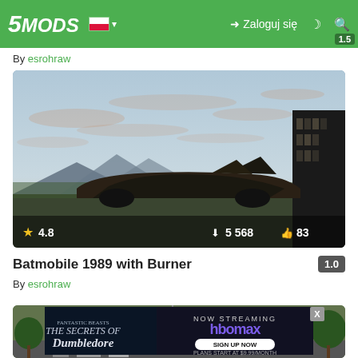5MODS — Navigation bar with logo, Polish flag, Zaloguj się, dark mode, search icons, version 1.5
By esrohraw
[Figure (screenshot): Screenshot of a Batmobile 1989 mod in GTA5 environment, evening sky with clouds, mountains in background, dark skyscraper on right. Rating: 4.8 stars, 5568 downloads, 83 likes.]
Batmobile 1989 with Burner
By esrohraw
[Figure (screenshot): Partial screenshot of another mod, showing city street scene with trees and buildings. An advertisement overlay for 'Fantastic Beasts: The Secrets of Dumbledore' on HBO Max is shown, NOW STREAMING, SIGN UP NOW, Plans start at $9.99/month. Close button X visible.]